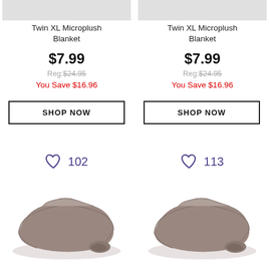[Figure (photo): Cropped product image top - gray blanket, partially visible]
Twin XL Microplush Blanket
$7.99
Reg:$24.95
You Save $16.96
SHOP NOW
[Figure (photo): Cropped product image top - gray blanket, partially visible]
Twin XL Microplush Blanket
$7.99
Reg:$24.95
You Save $16.96
SHOP NOW
102
113
[Figure (photo): Folded gray microplush blanket product photo - left]
[Figure (photo): Folded gray microplush blanket product photo - right]